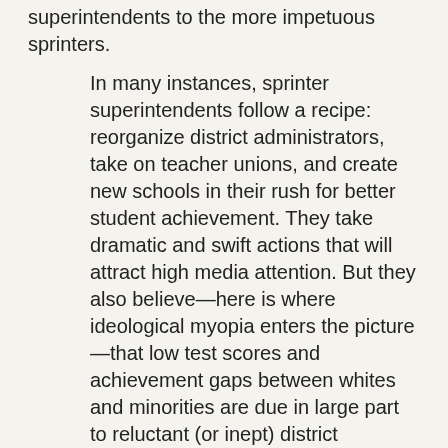superintendents to the more impetuous sprinters.
In many instances, sprinter superintendents follow a recipe: reorganize district administrators, take on teacher unions, and create new schools in their rush for better student achievement. They take dramatic and swift actions that will attract high media attention. But they also believe—here is where ideological myopia enters the picture—that low test scores and achievement gaps between whites and minorities are due in large part to reluctant (or inept) district bureaucrats, recalcitrant principals, and knuckle-dragging union leaders defending contracts that protect lousy teachers from pay-for-performance incentives.
Such beliefs, however, seriously misread why urban district students fail to reach proficiency levels and graduate high school. As important as it is to reorganize district offices, alter salary schedules, get rid of incompetent teachers and intractable principals, such actions in of